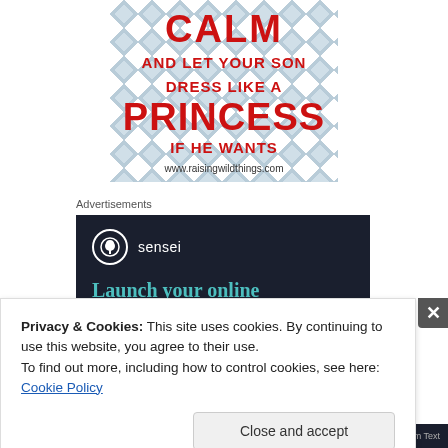[Figure (illustration): Keep Calm parody poster with diamond tile background. Red text reads: CALM / AND LET YOUR SON / DRESS LIKE A / PRINCESS / IF HE WANTS. Website: www.raisingwildthings.com]
Advertisements
[Figure (illustration): Sensei advertisement on dark navy background. Shows Sensei logo (tree icon in circle) and tagline 'Launch your online' in teal text.]
Privacy & Cookies: This site uses cookies. By continuing to use this website, you agree to their use.
To find out more, including how to control cookies, see here: Cookie Policy
Close and accept